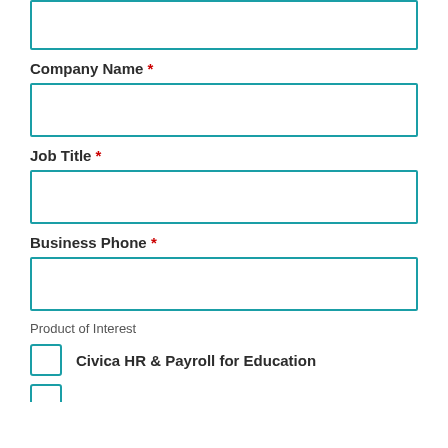[Figure (other): Empty input field with teal border at top of page (partially visible)]
Company Name *
[Figure (other): Empty input field with teal border for Company Name]
Job Title *
[Figure (other): Empty input field with teal border for Job Title]
Business Phone *
[Figure (other): Empty input field with teal border for Business Phone]
Product of Interest
Civica HR & Payroll for Education
[Figure (other): Partial checkbox at bottom of page]